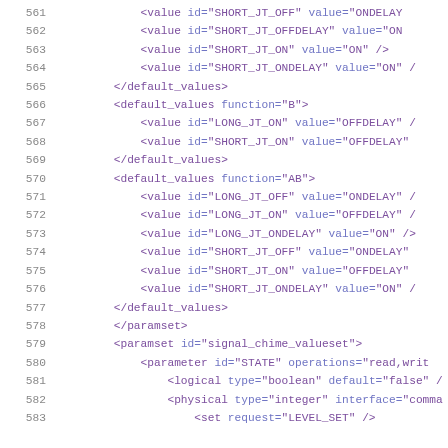561-583: XML code block showing default_values and paramset elements with value id attributes
561: <value id="SHORT_JT_OFF" value="ONDELAY"
562: <value id="SHORT_JT_OFFDELAY" value="ON"
563: <value id="SHORT_JT_ON" value="ON" />
564: <value id="SHORT_JT_ONDELAY" value="ON" /
565: </default_values>
566: <default_values function="B">
567: <value id="LONG_JT_ON" value="OFFDELAY" /
568: <value id="SHORT_JT_ON" value="OFFDELAY"
569: </default_values>
570: <default_values function="AB">
571: <value id="LONG_JT_OFF" value="ONDELAY" /
572: <value id="LONG_JT_ON" value="OFFDELAY" /
573: <value id="LONG_JT_ONDELAY" value="ON" />
574: <value id="SHORT_JT_OFF" value="ONDELAY"
575: <value id="SHORT_JT_ON" value="OFFDELAY"
576: <value id="SHORT_JT_ONDELAY" value="ON" /
577: </default_values>
578: </paramset>
579: <paramset id="signal_chime_valueset">
580: <parameter id="STATE" operations="read,writ
581: <logical type="boolean" default="false" /
582: <physical type="integer" interface="comma
583: <set request="LEVEL_SET" />